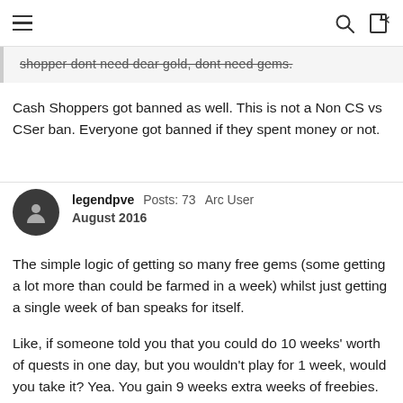[navigation bar with hamburger menu, search icon, login icon]
shopper dont need dear gold, dont need gems.
Cash Shoppers got banned as well. This is not a Non CS vs CSer ban. Everyone got banned if they spent money or not.
legendpve  Posts: 73  Arc User  August 2016
The simple logic of getting so many free gems (some getting a lot more than could be farmed in a week) whilst just getting a single week of ban speaks for itself.

Like, if someone told you that you could do 10 weeks' worth of quests in one day, but you wouldn't play for 1 week, would you take it? Yea. You gain 9 weeks extra weeks of freebies. That's kinda the idea here.